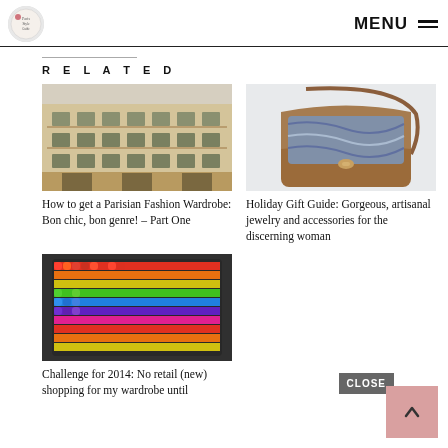MENU
RELATED
[Figure (photo): Parisian Hausmann-style building facade, beige stone, wrought iron balconies]
How to get a Parisian Fashion Wardrobe: Bon chic, bon genre! – Part One
[Figure (photo): Brown leather crossbody bag with blue/grey floral print fabric, on white background]
Holiday Gift Guide: Gorgeous, artisanal jewelry and accessories for the discerning woman
[Figure (photo): Colorful rainbow beaded purse/wallet with multicolored geometric pattern]
Challenge for 2014: No retail (new) shopping for my wardrobe until